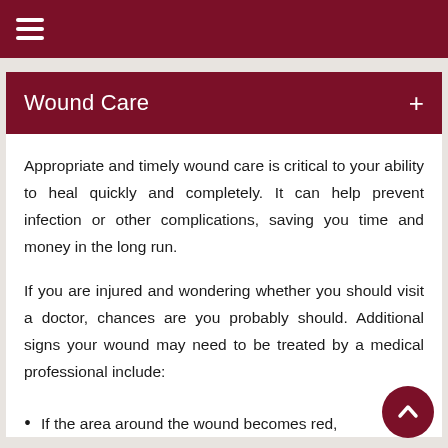≡ (hamburger menu icon)
Wound Care
Appropriate and timely wound care is critical to your ability to heal quickly and completely. It can help prevent infection or other complications, saving you time and money in the long run.
If you are injured and wondering whether you should visit a doctor, chances are you probably should. Additional signs your wound may need to be treated by a medical professional include:
If the area around the wound becomes red,